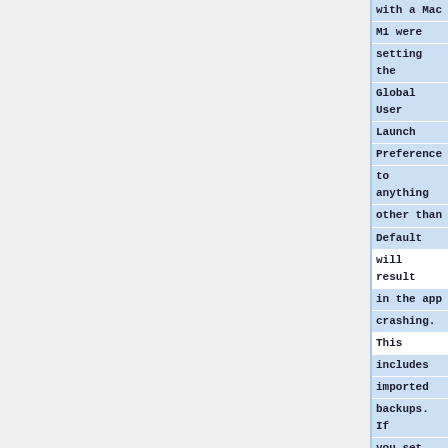with a Mac M1 were setting the Global User Launch Preference to anything other than Default will result in the app crashing. This includes imported backups. If you set the launch preference on a Mac M1 or imported